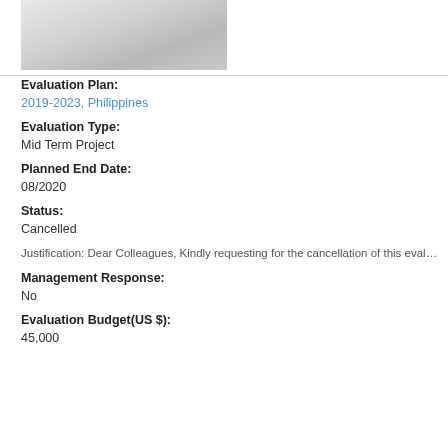[Figure (photo): Greyscale image placeholder in upper left corner]
Evaluation Plan:
2019-2023, Philippines
Evaluation Type:
Mid Term Project
Planned End Date:
08/2020
Status:
Cancelled
Justification: Dear Colleagues, Kindly requesting for the cancellation of this evaluati…
Management Response:
No
Evaluation Budget(US $):
45,000